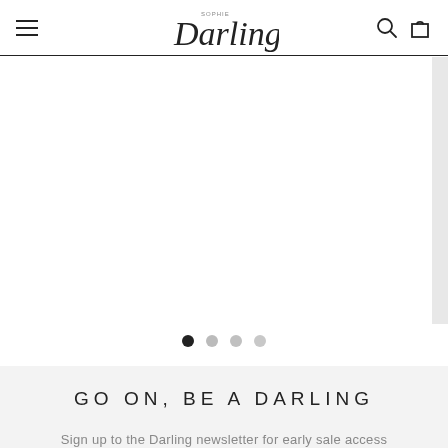Sophie Darling – navigation bar with menu, logo, search, and cart icons
[Figure (screenshot): Empty white slider/carousel area with a light grey accent strip on the right side]
[Figure (other): Carousel dot indicators: one filled dark dot (active) followed by three lighter grey dots]
GO ON, BE A DARLING
Sign up to the Darling newsletter for early sale access